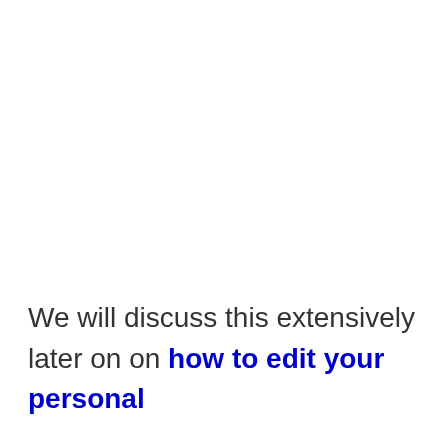We will discuss this extensively later on on how to edit your personal